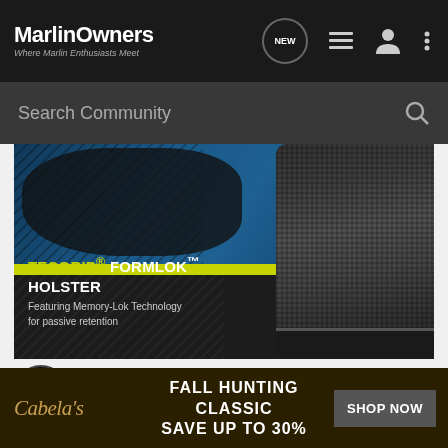MarlinOwners - Where Marlin Enthusiasts Meet
Search Community
[Figure (photo): Advertisement for TECGRIP® FORMLOK™ HOLSTER featuring Memory-Lok Technology for passive retention. Shows a black textured gun grip/holster against a blue and dark background with a lime yellow stripe.]
Learn More
timtriple · Registered 🇬🇧
[Figure (photo): Cabela's Fall Hunting Classic - Save Up To 30% - Shop Now banner advertisement]